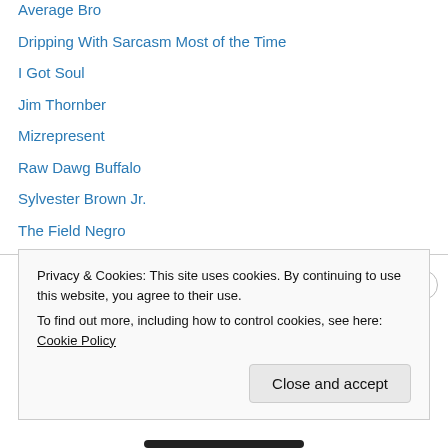Average Bro
Dripping With Sarcasm Most of the Time
I Got Soul
Jim Thornber
Mizrepresent
Raw Dawg Buffalo
Sylvester Brown Jr.
The Field Negro
Websites
Al Jazeera
Privacy & Cookies: This site uses cookies. By continuing to use this website, you agree to their use.
To find out more, including how to control cookies, see here: Cookie Policy
Close and accept